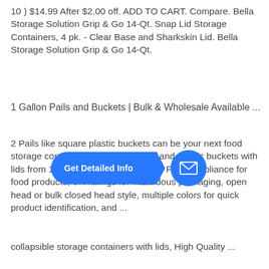10 ) $14.99 After $2.00 off. ADD TO CART. Compare. Bella Storage Solution Grip & Go 14-Qt. Snap Lid Storage Containers, 4 pk. - Clear Base and Sharkskin Lid. Bella Storage Solution Grip & Go 14-Qt.
1 Gallon Pails and Buckets | Bulk & Wholesale Available ...
2 Pails like square plastic buckets can be your next food storage contai...le 20-plus metal pails and plastic buckets with lids from 1 to 12 gallons that range in FDA compliance for food products, UN ratings for hazardous packaging, open head or bulk closed head style, multiple colors for quick product identification, and ...
[Figure (other): A blue 'Get Detailed Info' call-to-action button with an arrow pointing to a blue circle containing an envelope/email icon, overlaid on the text.]
collapsible storage containers with lids, High Quality ...